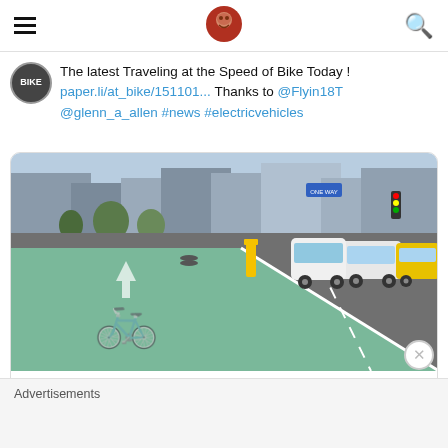Traveling at the Speed of Bike - navigation header with hamburger menu, logo, search icon
The latest Traveling at the Speed of Bike Today ! paper.li/at_bike/151101... Thanks to @Flyin18T @glenn_a_allen #news #electricvehicles
[Figure (photo): Street photo showing a green painted bicycle lane on the left with a bicycle symbol, and car traffic lane on the right with parked and moving cars, urban setting with buildings and trees in background.]
paper.li
New York's proposed e-bike rebate could slash electric bike and scooter prices b...
Advertisements